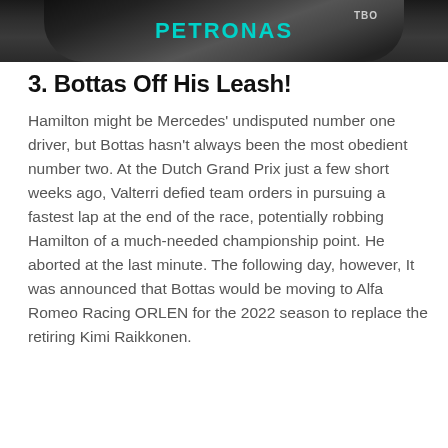[Figure (photo): Close-up photo of a Formula 1 driver wearing a dark Mercedes helmet with PETRONAS branding visible on the suit, shot from above against a dark background.]
3. Bottas Off His Leash!
Hamilton might be Mercedes' undisputed number one driver, but Bottas hasn't always been the most obedient number two. At the Dutch Grand Prix just a few short weeks ago, Valterri defied team orders in pursuing a fastest lap at the end of the race, potentially robbing Hamilton of a much-needed championship point. He aborted at the last minute. The following day, however, It was announced that Bottas would be moving to Alfa Romeo Racing ORLEN for the 2022 season to replace the retiring Kimi Raikkonen.